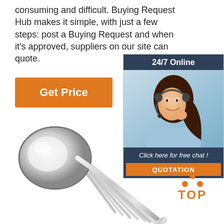consuming and difficult. Buying Request Hub makes it simple, with just a few steps: post a Buying Request and when it's approved, suppliers on our site can quote.
Get Price
[Figure (infographic): 24/7 Online customer service chat box with a woman wearing a headset, dark navy header reading '24/7 Online', text 'Click here for free chat!' and an orange QUOTATION button]
[Figure (photo): Multiple stainless steel soup spoons fanned out showing reflective chrome finish]
[Figure (logo): TOP badge with orange dots arranged in triangle above the word TOP in orange letters]